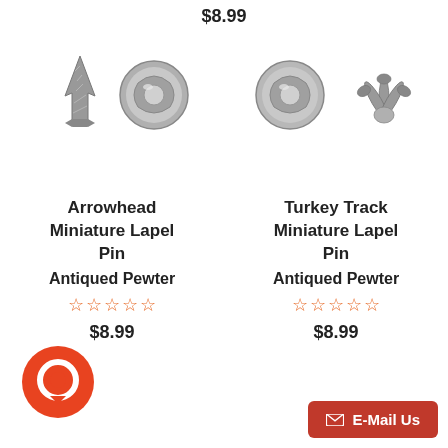$8.99
[Figure (photo): Arrowhead Miniature Lapel Pin (front and back) in antiqued pewter finish]
[Figure (photo): Turkey Track Miniature Lapel Pin (front and back) in antiqued pewter finish]
Arrowhead Miniature Lapel Pin
Antiqued Pewter
$8.99
Turkey Track Miniature Lapel Pin
Antiqued Pewter
$8.99
[Figure (logo): Orange circular chat/messaging button]
E-Mail Us